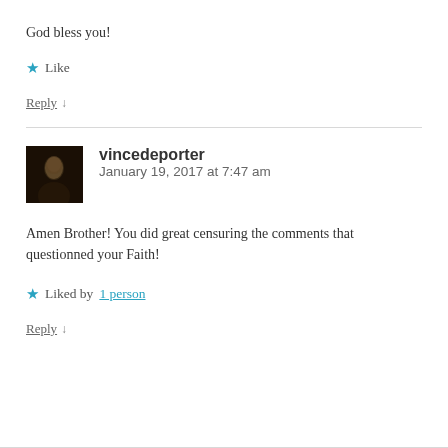God bless you!
★ Like
Reply ↓
vincedeporter
January 19, 2017 at 7:47 am
Amen Brother! You did great censuring the comments that questionned your Faith!
★ Liked by 1 person
Reply ↓